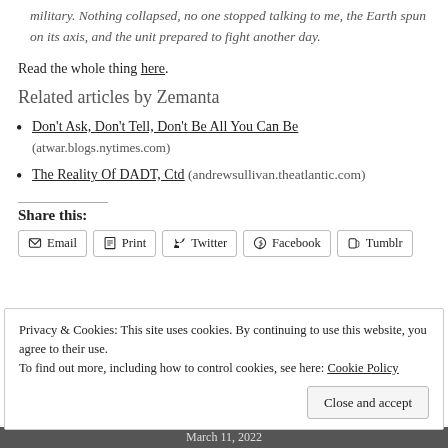military. Nothing collapsed, no one stopped talking to me, the Earth spun on its axis, and the unit prepared to fight another day.
Read the whole thing here.
Related articles by Zemanta
Don't Ask, Don't Tell, Don't Be All You Can Be (atwar.blogs.nytimes.com)
The Reality Of DADT, Ctd (andrewsullivan.theatlantic.com)
Share this:
Email  Print  Twitter  Facebook  Tumblr
Privacy & Cookies: This site uses cookies. By continuing to use this website, you agree to their use. To find out more, including how to control cookies, see here: Cookie Policy
March 11, 2022